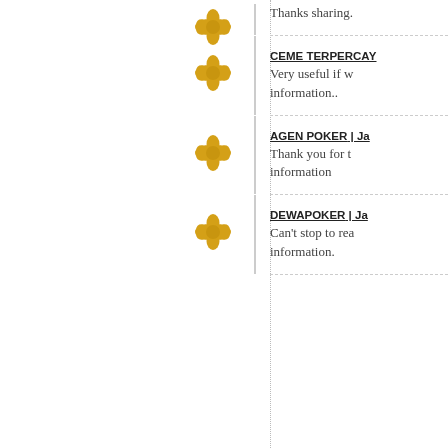Thanks sharing.
CEME TERPERCAYA
Very useful if w... information..
AGEN POKER | Ja...
Thank you for t... information
DEWAPOKER | Ja...
Can't stop to rea... information.